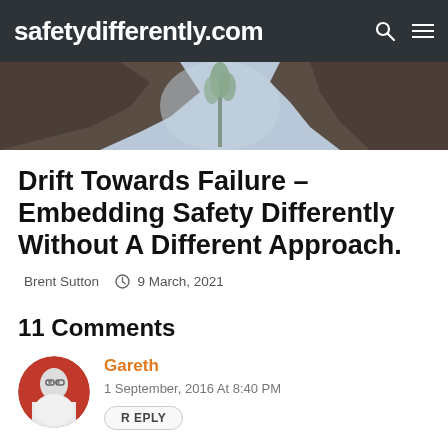safetydifferently.com
[Figure (photo): Landscape photo showing rocky cliffs with a plant/tree growing between them against a sky background]
Drift Towards Failure – Embedding Safety Differently Without A Different Approach.
Brent Sutton  9 March, 2021
11 Comments
Gareth
1 September, 2016 At 8:40 PM
REPLY